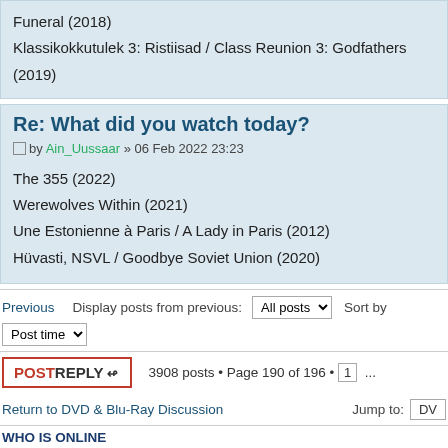Funeral (2018)
Klassikokkutulek 3: Ristiisad / Class Reunion 3: Godfathers (2019)
Re: What did you watch today?
by Ain_Uussaar » 06 Feb 2022 23:23
The 355 (2022)
Werewolves Within (2021)
Une Estonienne à Paris / A Lady in Paris (2012)
Hüvasti, NSVL / Goodbye Soviet Union (2020)
Previous | Display posts from previous: All posts | Sort by Post time
POSTREPLY | 3908 posts • Page 190 of 196 • 1 ...
Return to DVD & Blu-Ray Discussion | Jump to: DV
WHO IS ONLINE
Users browsing this forum: Bing [Bot] and 1 guest
Board index | The team •
Powered by phpBB® Forum Software © phpBB Gr